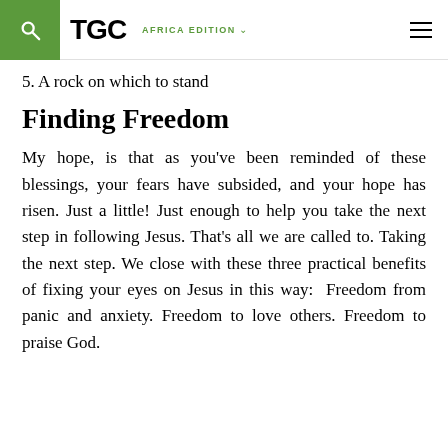TGC AFRICA EDITION
5. A rock on which to stand
Finding Freedom
My hope, is that as you've been reminded of these blessings, your fears have subsided, and your hope has risen. Just a little! Just enough to help you take the next step in following Jesus. That's all we are called to. Taking the next step. We close with these three practical benefits of fixing your eyes on Jesus in this way:  Freedom from panic and anxiety. Freedom to love others. Freedom to praise God.